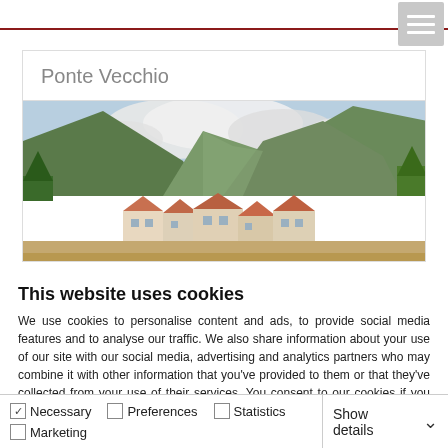Ponte Vecchio
[Figure (photo): Panoramic photo of an Italian alpine village with terracotta-roofed buildings set against lush green mountains and a cloudy sky]
This website uses cookies
We use cookies to personalise content and ads, to provide social media features and to analyse our traffic. We also share information about your use of our site with our social media, advertising and analytics partners who may combine it with other information that you've provided to them or that they've collected from your use of their services. You consent to our cookies if you continue to use our website.
OK
Necessary  Preferences  Statistics  Marketing  Show details